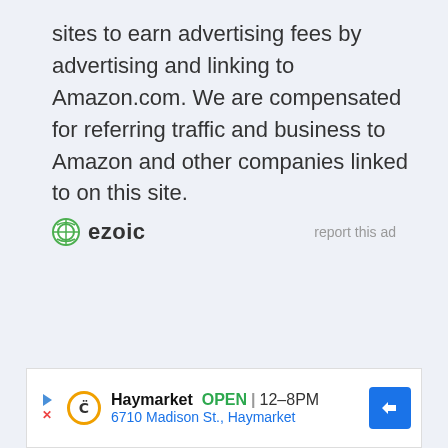sites to earn advertising fees by advertising and linking to Amazon.com. We are compensated for referring traffic and business to Amazon and other companies linked to on this site.
[Figure (logo): Ezoic logo with green circular icon and bold 'ezoic' text, and 'report this ad' link to the right]
[Figure (screenshot): Google Maps ad banner showing Haymarket business listing: OPEN 12-8PM, 6710 Madison St., Haymarket, with navigation arrow icon]